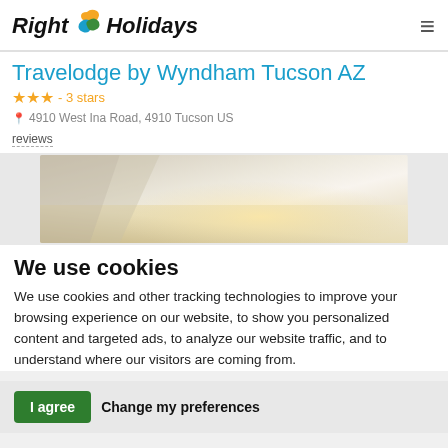Right Holidays
Travelodge by Wyndham Tucson AZ
★★★ - 3 stars
4910 West Ina Road, 4910 Tucson US
reviews
[Figure (photo): Hotel room ceiling photo with warm ambient lighting]
We use cookies
We use cookies and other tracking technologies to improve your browsing experience on our website, to show you personalized content and targeted ads, to analyze our website traffic, and to understand where our visitors are coming from.
I agree   Change my preferences